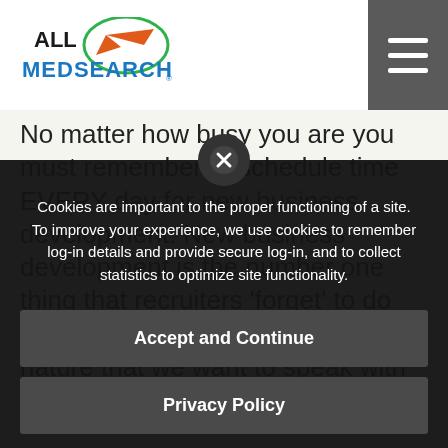[Figure (logo): All MedSearch logo with orange globe/arrow graphic and teal MEDSEARCH text]
No matter how busy you are you must remember to schedule time EVERY day for new business development. New business development is the number one thing that recruiters 'forget' to do when they are 'busy'. It is human nature that we want to speak with people who are warm and friendly and receptive to us. Therefore a lot of recruiters spend time repeatedly calling people
Cookies are important to the proper functioning of a site. To improve your experience, we use cookies to remember log-in details and provide secure log-in, and to collect statistics to optimize site functionality.
Accept and Continue
Privacy Policy